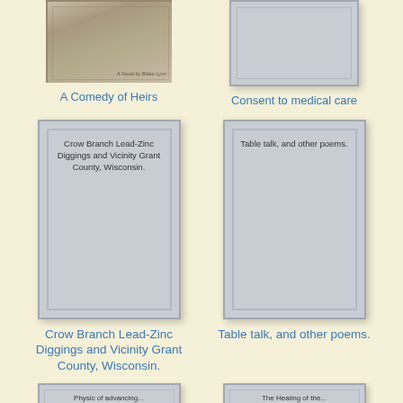[Figure (illustration): Book cover thumbnail for 'A Comedy of Heirs' - sepia photograph style cover]
A Comedy of Heirs
[Figure (illustration): Book cover placeholder for 'Consent to medical care' - plain gray cover]
Consent to medical care
[Figure (illustration): Book cover for 'Crow Branch Lead-Zinc Diggings and Vicinity Grant County, Wisconsin.' - gray placeholder with title text]
Crow Branch Lead-Zinc Diggings and Vicinity Grant County, Wisconsin.
[Figure (illustration): Book cover for 'Table talk, and other poems.' - gray placeholder with title text]
Table talk, and other poems.
[Figure (illustration): Partial book cover at bottom left - cut off]
[Figure (illustration): Partial book cover at bottom right - cut off, title partially visible 'The Healing of the...']